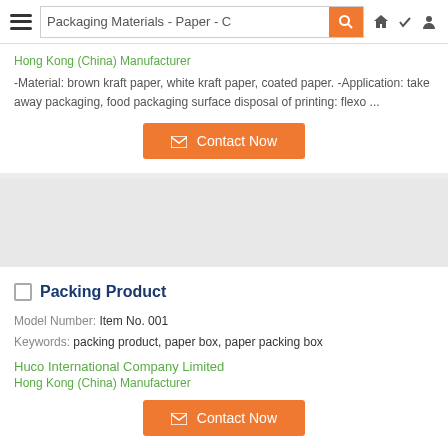Packaging Materials - Paper - C
Hong Kong (China) Manufacturer
-Material: brown kraft paper, white kraft paper, coated paper. -Application: take away packaging, food packaging surface disposal of printing: flexo ...
Contact Now
[Figure (other): Grey image placeholder for product photo]
Packing Product
Model Number:  Item No. 001
Keywords:  packing product, paper box, paper packing box
Huco International Company Limited
Hong Kong (China) Manufacturer
Contact Now